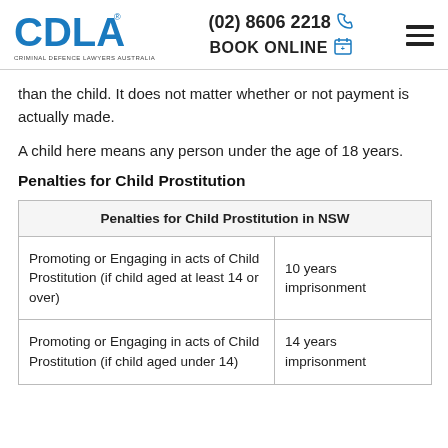CDLA Criminal Defence Lawyers Australia | (02) 8606 2218 | BOOK ONLINE
than the child. It does not matter whether or not payment is actually made.
A child here means any person under the age of 18 years.
Penalties for Child Prostitution
| Penalties for Child Prostitution in NSW |
| --- |
| Promoting or Engaging in acts of Child Prostitution (if child aged at least 14 or over) | 10 years imprisonment |
| Promoting or Engaging in acts of Child Prostitution (if child aged under 14) | 14 years imprisonment |